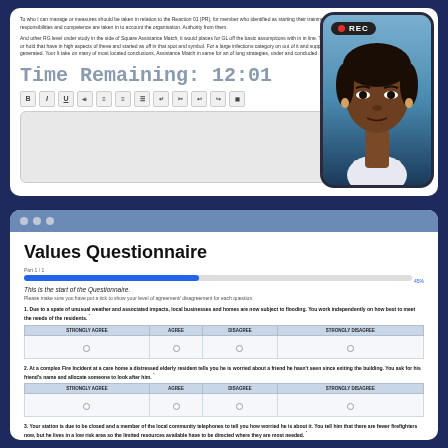[Figure (screenshot): Top panel showing a text editor interface with a countdown timer reading 'Time Remaining: 12:01', a text formatting toolbar, and a text input area. A video overlay in the top right shows a woman's face with a REC badge.]
Values Questionnaire
Part 1 / 1
This is the start of the Questionnaire.
Please make sure you have put a tick to show your level of agreement/ disagreement for each question.
1. Due to a spate of unusual weather and associated impacts, local businesses and homes are now subject to flooding. You work independently on how best to meet the needs of the residents. *
| STRONGLY AGREE | AGREE | DISAGREE | STRONGLY DISAGREE |
| --- | --- | --- | --- |
| ○ | ○ | ○ | ○ |
2. At a complex Fire Incident at a care home a distressed elderly resident tells you he is worried about a friend he hasn't seen since exiting the building. You ask for his friend's name and allocate someone to look after him. *
| STRONGLY AGREE | AGREE | DISAGREE | STRONGLY DISAGREE |
| --- | --- | --- | --- |
| ○ | ○ | ○ | ○ |
3. Your station is due to be closed and a member of the local community telephones to tell you how worried he is about it. You tell him that there are fewer firefighters now, but he lives in a low risk area so the limited resources available have to be directed where they are most needed. *
| STRONGLY AGREE | AGREE | DISAGREE | STRONGLY DISAGREE |
| --- | --- | --- | --- |
| ○ | ○ | ○ | ○ |